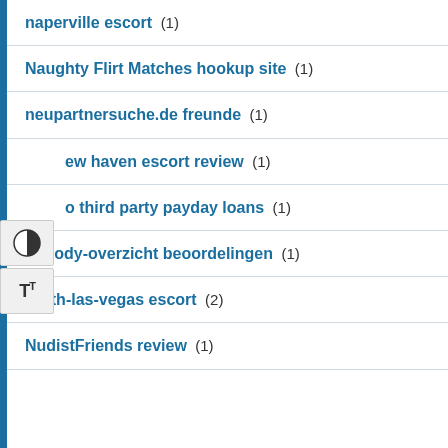naperville escort (1)
Naughty Flirt Matches hookup site (1)
neupartnersuche.de freunde (1)
ew haven escort review (1)
o third party payday loans (1)
nobody-overzicht beoordelingen (1)
north-las-vegas escort (2)
NudistFriends review (1)